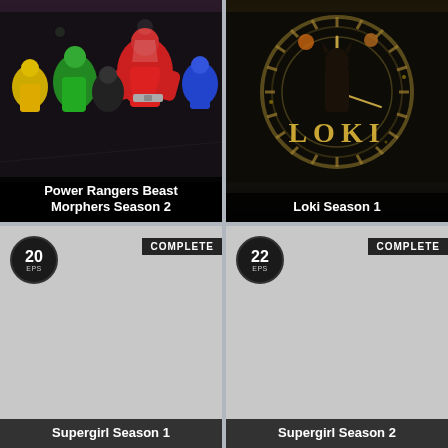[Figure (photo): Power Rangers Beast Morphers Season 2 TV show card showing colorful Power Rangers characters in costume]
Power Rangers Beast Morphers Season 2
[Figure (photo): Loki Season 1 TV show card with ornate clock/gear background and Loki title text]
Loki Season 1
[Figure (photo): Supergirl Season 1 placeholder card showing 20 EPS badge and COMPLETE tag]
Supergirl Season 1
[Figure (photo): Supergirl Season 2 placeholder card showing 22 EPS badge and COMPLETE tag]
Supergirl Season 2